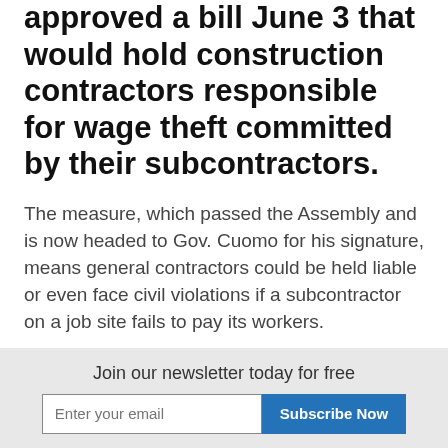approved a bill June 3 that would hold construction contractors responsible for wage theft committed by their subcontractors.
The measure, which passed the Assembly and is now headed to Gov. Cuomo for his signature, means general contractors could be held liable or even face civil violations if a subcontractor on a job site fails to pay its workers.
"An honest day's pay for an honest day's work," said Sen. Jessica Ramos (D-Queens), one of the bill's
Join our newsletter today for free